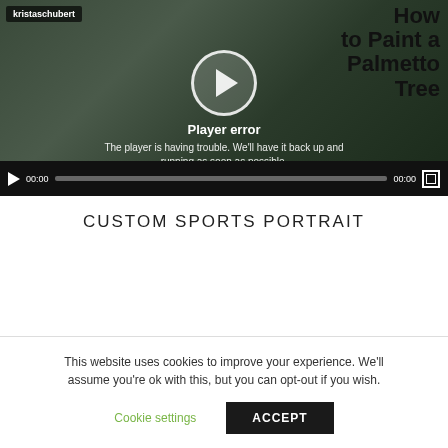[Figure (screenshot): Video player showing a player error overlay with play button circle, 'Player error' text, and error message. Username 'kristaschubert' shown top-left. Video title 'How to Paint a Palmetto Tree' shown top-right. Video controls bar at bottom with play button, 00:00 timestamp, progress bar, 00:00 end time, and fullscreen button.]
CUSTOM SPORTS PORTRAIT
This website uses cookies to improve your experience. We'll assume you're ok with this, but you can opt-out if you wish.
Cookie settings    ACCEPT